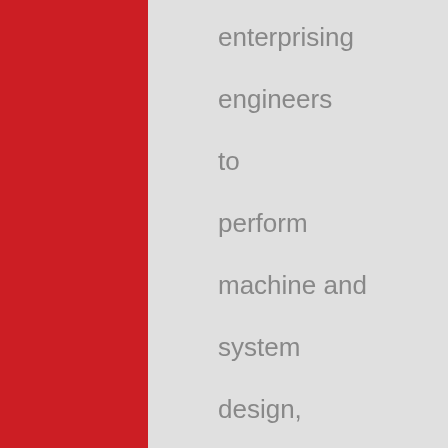enterprising engineers to perform machine and system design, production and installation. Although it started its business in natural stone